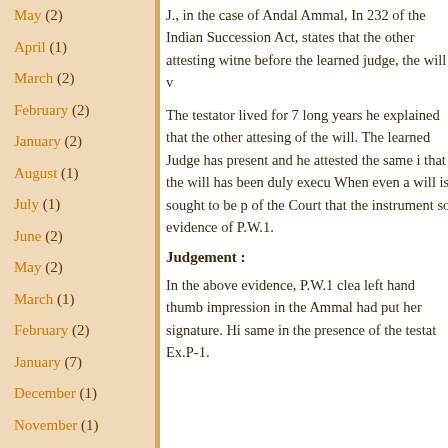May (2)
April (1)
March (2)
February (2)
January (2)
August (1)
July (1)
June (2)
May (2)
March (1)
February (2)
January (7)
December (1)
November (1)
J., in the case of Andal Ammal, In 232 of the Indian Succession Act, states that the other attesting witne before the learned judge, the will v
The testator lived for 7 long years he explained that the other attesing of the will. The learned Judge has present and he attested the same i that the will has been duly execu When even a will is sought to be p of the Court that the instrument so evidence of P.W.1.
Judgement :
In the above evidence, P.W.1 clea left hand thumb impression in the Ammal had put her signature. Hi same in the presence of the testat Ex.P-1.